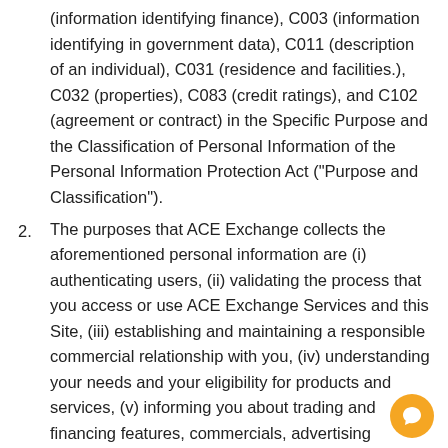(information identifying finance), C003 (information identifying in government data), C011 (description of an individual), C031 (residence and facilities.), C032 (properties), C083 (credit ratings), and C102 (agreement or contract) in the Specific Purpose and the Classification of Personal Information of the Personal Information Protection Act (“Purpose and Classification”).
The purposes that ACE Exchange collects the aforementioned personal information are (i) authenticating users, (ii) validating the process that you access or use ACE Exchange Services and this Site, (iii) establishing and maintaining a responsible commercial relationship with you, (iv) understanding your needs and your eligibility for products and services, (v) informing you about trading and financing features, commercials, advertising materials, and other